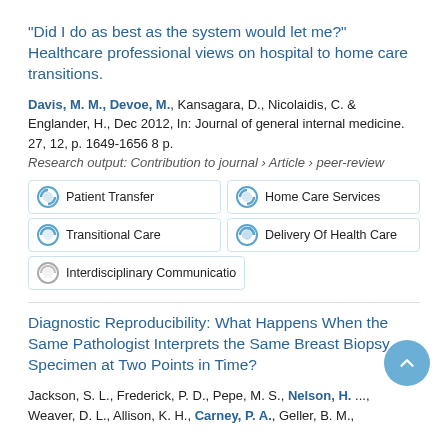"Did I do as best as the system would let me?" Healthcare professional views on hospital to home care transitions.
Davis, M. M., Devoe, M., Kansagara, D., Nicolaidis, C. & Englander, H., Dec 2012, In: Journal of general internal medicine. 27, 12, p. 1649-1656 8 p.
Research output: Contribution to journal › Article › peer-review
Patient Transfer
Home Care Services
Transitional Care
Delivery Of Health Care
Interdisciplinary Communicatio
Diagnostic Reproducibility: What Happens When the Same Pathologist Interprets the Same Breast Biopsy Specimen at Two Points in Time?
Jackson, S. L., Frederick, P. D., Pepe, M. S., Nelson, H. ..., Weaver, D. L., Allison, K. H., Carney, P. A., Geller, B. M., ...